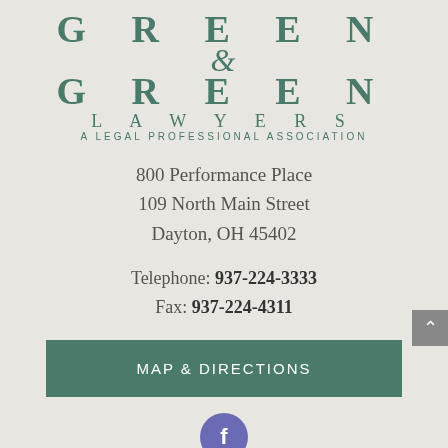[Figure (logo): Green & Green Lawyers logo with stylized uppercase letters in teal/dark green, ampersand in the center, followed by LAWYERS and A LEGAL PROFESSIONAL ASSOCIATION text]
800 Performance Place
109 North Main Street
Dayton, OH 45402
Telephone: 937-224-3333
Fax: 937-224-4311
MAP & DIRECTIONS
[Figure (other): Facebook icon - circular purple/indigo button with white lowercase f]